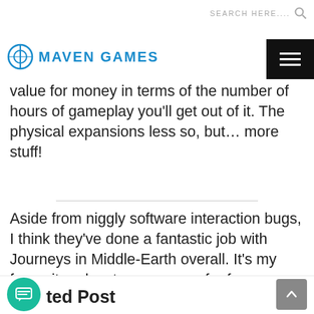SEARCH HERE.... 🔍 MAVEN GAMES [menu]
value for money in terms of the number of hours of gameplay you'll get out of it. The physical expansions less so, but… more stuff!
Aside from niggly software interaction bugs, I think they've done a fantastic job with Journeys in Middle-Earth overall. It's my favourite adventure game so far from Fantasy Flight. Have you tried it? What do you think?
ted Post